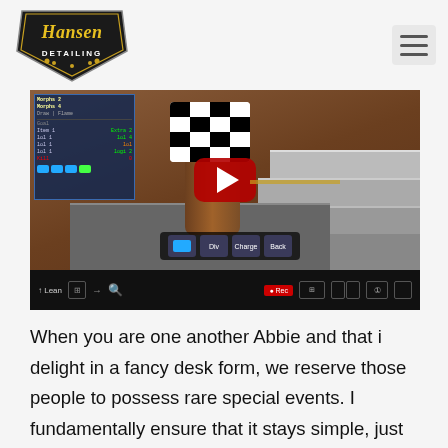Hansen Detailing logo and navigation
[Figure (screenshot): YouTube video thumbnail showing a Roblox game screenshot with a character wearing a checkered hat, brown cylindrical body, on grey steps, with a red YouTube play button overlay and video player controls bar at bottom.]
When you are one another Abbie and that i delight in a fancy desk form, we reserve those people to possess rare special events. I fundamentally ensure that it stays simple, just like the assists be truthful excess fool around so we acquiredt have to do they